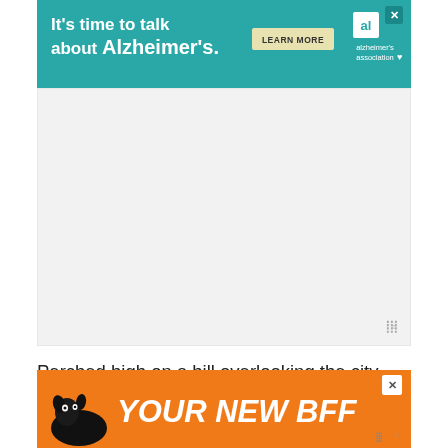[Figure (screenshot): Alzheimer's Association advertisement banner with teal background. Text reads: It's time to talk about Alzheimer's. with a LEARN MORE button and the Alzheimer's Association logo.]
[Figure (other): Gray placeholder advertisement area with weather/content widget icon in lower right corner.]
Perched high on a hill overlooking the city, the picture-perfect ruins of the Heidelberg Castle are the result of many centuries of building and of destruction caused by war, fire and pillaging. The earliest fortifications were constructed in the 13th century; most of the present structures date back to the Renaissance Era. While much of the castle remains in a state of artful decay, some rooms have been...Hall...used
[Figure (screenshot): Orange advertisement banner with dog illustration and bold italic text: YOUR NEW BFF]